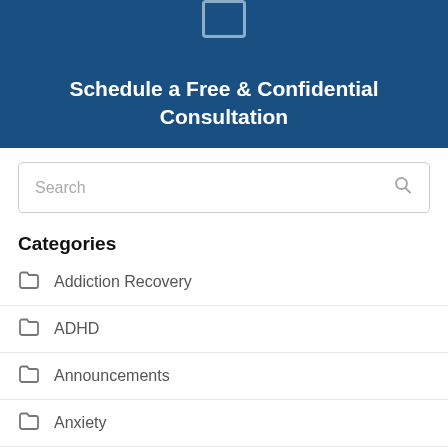[Figure (infographic): Blue banner with calendar icon and text 'Schedule a Free & Confidential Consultation']
Search
Categories
Addiction Recovery
ADHD
Announcements
Anxiety
Balancing Work & Family